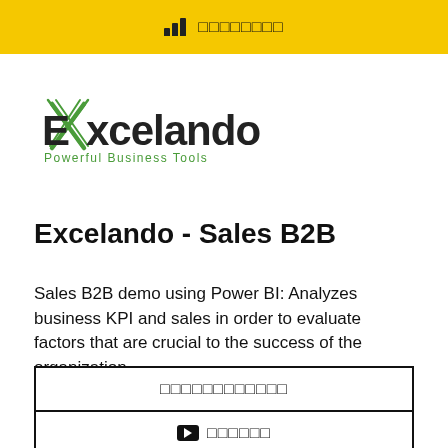□□□□□□□□
[Figure (logo): Excelando logo with green X mark and text 'Excelando Powerful Business Tools']
Excelando - Sales B2B
Sales B2B demo using Power BI: Analyzes business KPI and sales in order to evaluate factors that are crucial to the success of the organization.
□□□□□□□□□□□□
▶ □□□□□□